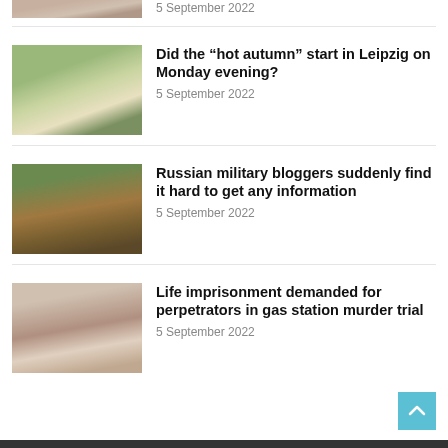[Figure (photo): Partial photo of a person's face, cropped at top of page]
5 September 2022
[Figure (photo): Person holding a flag outdoors]
Did the “hot autumn” start in Leipzig on Monday evening?
5 September 2022
[Figure (photo): Military anti-tank obstacles in a field]
Russian military bloggers suddenly find it hard to get any information
5 September 2022
[Figure (photo): Two people from behind, one bald, in a courtroom or formal setting]
Life imprisonment demanded for perpetrators in gas station murder trial
5 September 2022